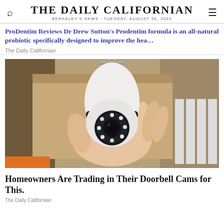THE DAILY CALIFORNIAN
BERKELEY'S NEWS · TUESDAY, AUGUST 30, 2022
ProDentim Reviews Dr Drew Sutton's Prodentim formula is an all-natural probiotic specifically designed to improve the hea…
The Daily Californian
[Figure (photo): A hand holding a white security camera shaped like a light bulb with a metal screw base at the top, a rotating body, and a circular lens with LED lights in the center. Background shows cardboard boxes and white electrical components.]
Homeowners Are Trading in Their Doorbell Cams for This.